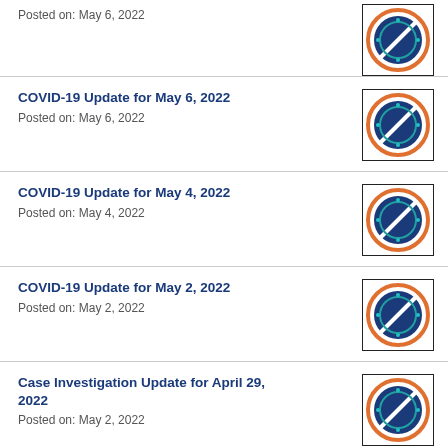Posted on: May 6, 2022
COVID-19 Update for May 6, 2022
Posted on: May 6, 2022
COVID-19 Update for May 4, 2022
Posted on: May 4, 2022
COVID-19 Update for May 2, 2022
Posted on: May 2, 2022
Case Investigation Update for April 29, 2022
Posted on: May 2, 2022
Case Investigation Update April 29, 2022
Posted on: April 29, 2022